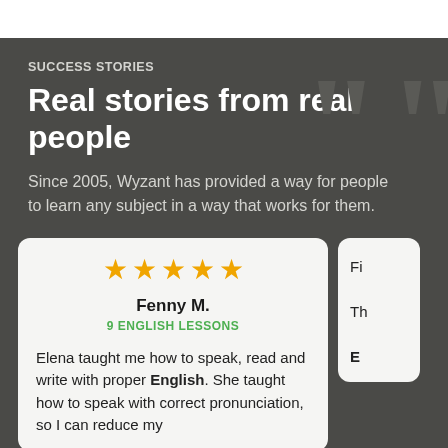SUCCESS STORIES
Real stories from real people
Since 2005, Wyzant has provided a way for people to learn any subject in a way that works for them.
★★★★★
Fenny M.
9 ENGLISH LESSONS
Elena taught me how to speak, read and write with proper English. She taught how to speak with correct pronunciation, so I can reduce my